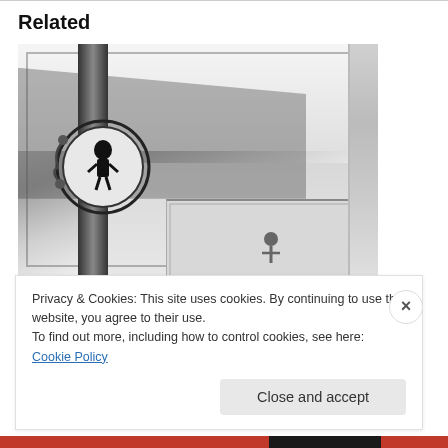Related
[Figure (photo): Vintage black and white photograph showing a beach boardwalk scene with crowds, buildings, and decorative lamppost in foreground. A secondary image panel is visible at the bottom right.]
June 9th in Seal Beach History (1 of 8)
Privacy & Cookies: This site uses cookies. By continuing to use this website, you agree to their use.
To find out more, including how to control cookies, see here: Cookie Policy
Close and accept